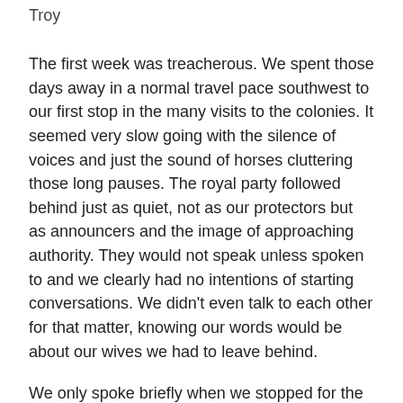Troy
The first week was treacherous. We spent those days away in a normal travel pace southwest to our first stop in the many visits to the colonies. It seemed very slow going with the silence of voices and just the sound of horses cluttering those long pauses. The royal party followed behind just as quiet, not as our protectors but as announcers and the image of approaching authority. They would not speak unless spoken to and we clearly had no intentions of starting conversations. We didn’t even talk to each other for that matter, knowing our words would be about our wives we had to leave behind.
We only spoke briefly when we stopped for the night in western Seni that was notorious for being bandit country.
“I’ll take first watch.” I said emotionless after the several shelters were put up for everyone.
Zayden merely agreed with a nod and walked inside the